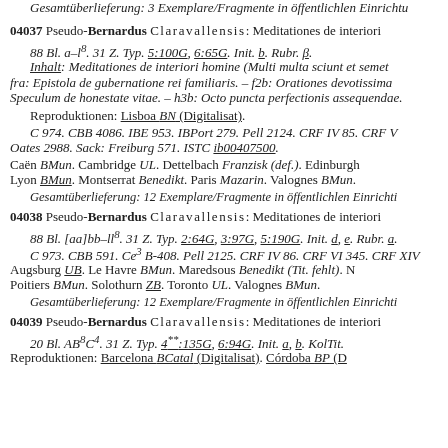Gesamtüberlieferung: 3 Exemplare/Fragmente in öffentlichen Einrichtungen
04037 Pseudo-Bernardus Claravallensis: Meditationes de interiori homine
88 Bl. a–l⁸. 31 Z. Typ. 5:100G, 6:65G. Init. b. Rubr. β.
Inhalt: Meditationes de interiori homine (Multi multa sciunt et semet...) fra: Epistola de gubernatione rei familiaris. – f2b: Orationes devotissima Speculum de honestate vitae. – h3b: Octo puncta perfectionis assequendae.
Reproduktionen: Lisboa BN (Digitalisat).
C 974. CBB 4086. IBE 953. IBPort 279. Pell 2124. CRF IV 85. CRF V Oates 2988. Sack: Freiburg 571. ISTC ib00407500.
Caën BMun. Cambridge UL. Dettelbach Franzisk (def.). Edinburgh Lyon BMun. Montserrat Benedikt. Paris Mazarin. Valognes BMun.
Gesamtüberlieferung: 12 Exemplare/Fragmente in öffentlichen Einrichtungen
04038 Pseudo-Bernardus Claravallensis: Meditationes de interiori homine
88 Bl. [aa]bb–ll⁸. 31 Z. Typ. 2:64G, 3:97G, 5:190G. Init. d, e. Rubr. a.
C 973. CBB 591. Ce³ B-408. Pell 2125. CRF IV 86. CRF VI 345. CRF XIV
Augsburg UB. Le Havre BMun. Maredsous Benedikt (Tit. fehlt). Poitiers BMun. Solothurn ZB. Toronto UL. Valognes BMun.
Gesamtüberlieferung: 12 Exemplare/Fragmente in öffentlichen Einrichtungen
04039 Pseudo-Bernardus Claravallensis: Meditationes de interiori homine
20 Bl. AB⁸C⁴. 31 Z. Typ. 4**:135G, 6:94G. Init. a, b. KolTit.
Reproduktionen: Barcelona BCatal (Digitalisat). Córdoba BP (D...